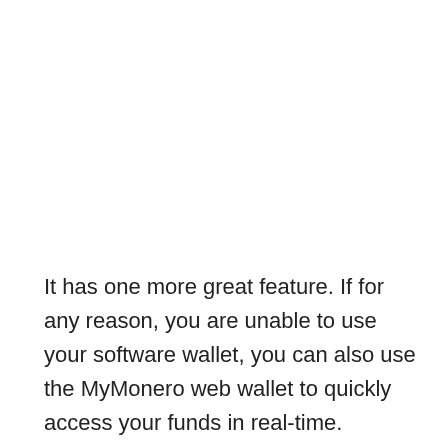[Figure (other): Social sharing sidebar with Facebook, Twitter, Reddit, and WhatsApp icons]
It has one more great feature. If for any reason, you are unable to use your software wallet, you can also use the MyMonero web wallet to quickly access your funds in real-time.